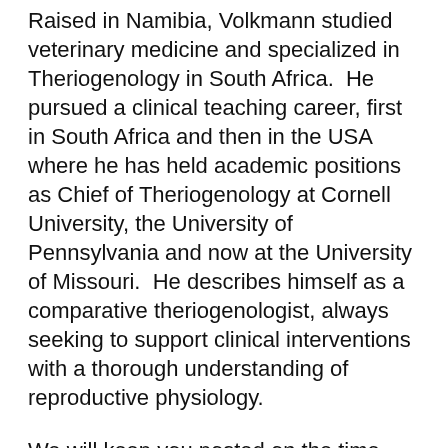Raised in Namibia, Volkmann studied veterinary medicine and specialized in Theriogenology in South Africa.  He pursued a clinical teaching career, first in South Africa and then in the USA where he has held academic positions as Chief of Theriogenology at Cornell University, the University of Pennsylvania and now at the University of Missouri.  He describes himself as a comparative theriogenologist, always seeking to support clinical interventions with a thorough understanding of reproductive physiology.
We will keep you posted on the time and location for this presentation, our plans are tentative to host the event on Friday following the judging. Once the judging schedule is finalized we will get back to you with the details.
Please share this event with your friends!